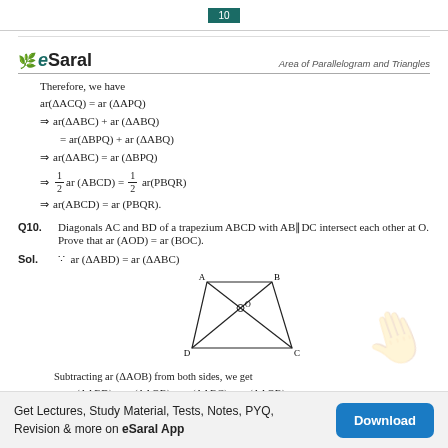10
[Figure (logo): eSaral logo with leaf icon on left, 'Area of Parallelogram and Triangles' on right]
Therefore, we have
ar(ΔACQ) = ar (ΔAPQ)
⇒ ar(ΔABC) + ar (ΔABQ)
  = ar(ΔBPQ) + ar (ΔABQ)
⇒ ar(ΔABC) = ar (ΔBPQ)
⇒ 1/2 ar (ABCD) = 1/2 ar(PBQR)
⇒ ar(ABCD) = ar (PBQR).
Q10. Diagonals AC and BD of a trapezium ABCD with AB∥DC intersect each other at O. Prove that ar (AOD) = ar (BOC).
Sol. ∵ ar (ΔABD) = ar (ΔABC)
[Figure (engineering-diagram): Trapezium ABCD with diagonals AC and BD intersecting at point O. Vertices A (top-left), B (top-right), D (bottom-left), C (bottom-right). O marked at center intersection.]
Subtracting ar (ΔAOB) from both sides, we get
⇒ ar (ΔABD) − ar (ΔAOB) = ar (ΔABC) − ar (ΔAOB)
⇒ ar (ΔAOD) = ar (ΔBOC)
Get Lectures, Study Material, Tests, Notes, PYQ, Revision & more on eSaral App   Download